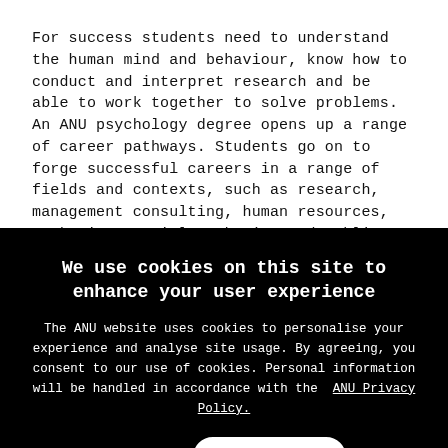For success students need to understand the human mind and behaviour, know how to conduct and interpret research and be able to work together to solve problems.
An ANU psychology degree opens up a range of career pathways. Students go on to forge successful careers in a range of fields and contexts, such as research, management consulting, human resources, marketing, social marketing and public
We use cookies on this site to enhance your user experience
The ANU website uses cookies to personalise your experience and analyse site usage. By agreeing, you consent to our use of cookies. Personal information will be handled in accordance with the ANU Privacy Policy.
Decline
OK, I agree